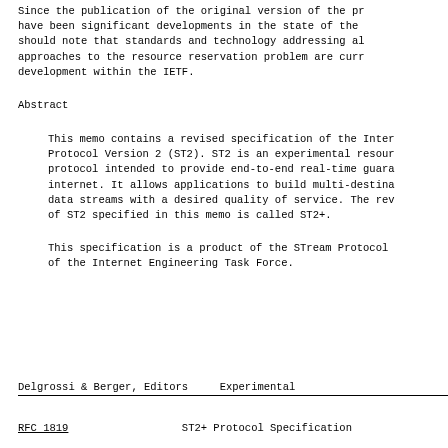Since the publication of the original version of the pr have been significant developments in the state of the should note that standards and technology addressing al approaches to the resource reservation problem are curr development within the IETF.
Abstract
This memo contains a revised specification of the Inter Protocol Version 2 (ST2). ST2 is an experimental resour protocol intended to provide end-to-end real-time guara internet. It allows applications to build multi-destina data streams with a desired quality of service. The rev of ST2 specified in this memo is called ST2+.
This specification is a product of the STream Protocol of the Internet Engineering Task Force.
Delgrossi & Berger, Editors    Experimental
RFC 1819                  ST2+ Protocol Specification